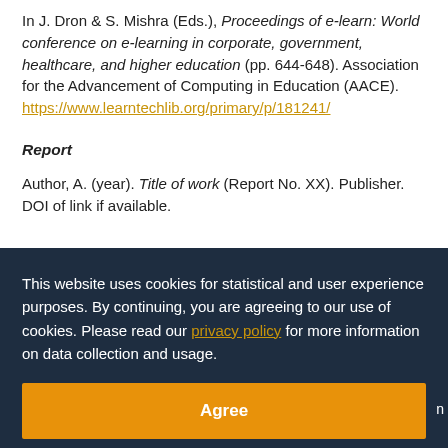In J. Dron & S. Mishra (Eds.), Proceedings of e-learn: World conference on e-learning in corporate, government, healthcare, and higher education (pp. 644-648). Association for the Advancement of Computing in Education (AACE). https://www.learntechlib.org/primary/p/181241/
Report
Author, A. (year). Title of work (Report No. XX). Publisher. DOI of link if available.
This website uses cookies for statistical and user experience purposes. By continuing, you are agreeing to our use of cookies. Please read our privacy policy for more information on data collection and usage.